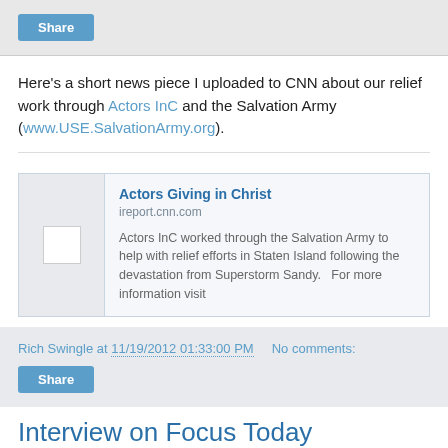[Figure (other): Share button at top of page]
Here's a short news piece I uploaded to CNN about our relief work through Actors InC and the Salvation Army (www.USE.SalvationArmy.org).
[Figure (screenshot): Embedded CNN iReport card: 'Actors Giving in Christ' from ireport.cnn.com. Description: Actors InC worked through the Salvation Army to help with relief efforts in Staten Island following the devastation from Superstorm Sandy. For more information visit]
Rich Swingle at 11/19/2012 01:33:00 PM   No comments:
[Figure (other): Share button in footer bar]
Interview on Focus Today